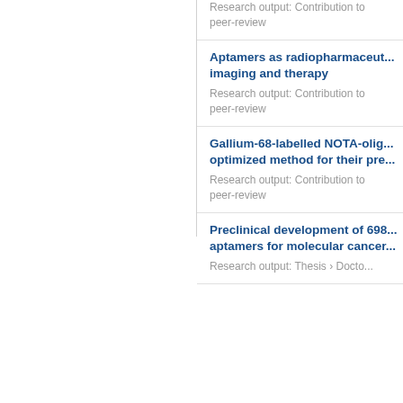Research output: Contribution to peer-review
Aptamers as radiopharmaceuticals for imaging and therapy
Research output: Contribution to peer-review
Gallium-68-labelled NOTA-oligo optimized method for their pre...
Research output: Contribution to peer-review
Preclinical development of 698 aptamers for molecular cancer...
Research output: Thesis › Docto...